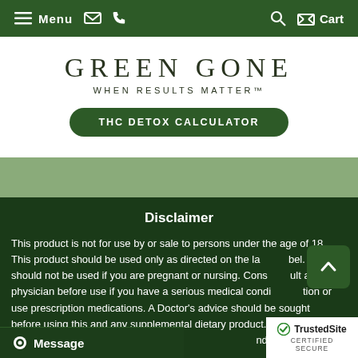Menu  [email] [phone]  [search] [cart] Cart
GREEN GONE
WHEN RESULTS MATTER™
THC DETOX CALCULATOR
Disclaimer
This product is not for use by or sale to persons under the age of 18. This product should be used only as directed on the label. It should not be used if you are pregnant or nursing. Consult a physician before use if you have a serious medical condition or use prescription medications. A Doctor's advice should be sought before using this and any supplemental dietary product. All trademarks and copyrights are property of their respective owners and are not affiliated with nor do they endorse